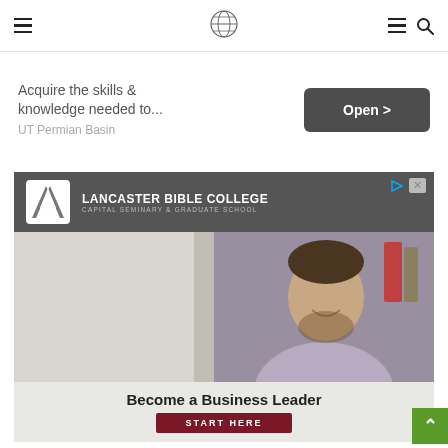Navigation bar with hamburger menu, site logo, hamburger menu, and search icon
[Figure (screenshot): Advertisement banner: 'Acquire the skills & knowledge needed to... UT Permian Basin' with an 'Open >' button]
[Figure (screenshot): Lancaster Bible College advertisement with logo, photo of smiling man, 'Become a Business Leader' headline, and 'START HERE' CTA button]